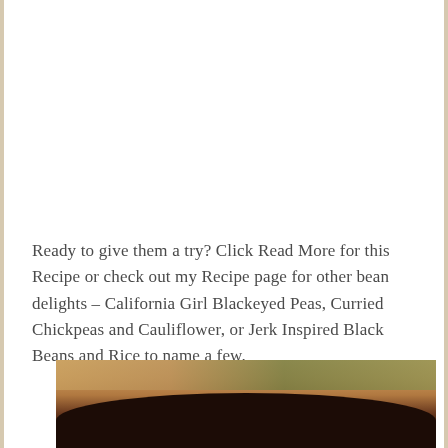Ready to give them a try? Click Read More for this Recipe or check out my Recipe page for other bean delights – California Girl Blackeyed Peas, Curried Chickpeas and Cauliflower, or Jerk Inspired Black Beans and Rice to name a few.
[Figure (photo): Bottom portion of a food photo showing a dark cooking pot or pan with blurred warm orange and brown background, partially visible at the bottom of the page]